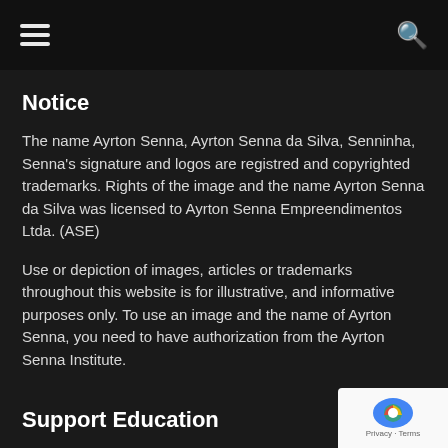[hamburger menu icon] [search icon]
Notice
The name Ayrton Senna, Ayrton Senna da Silva, Senninha, Senna's signature and logos are registred and copyrighted trademarks. Rights of the image and the name Ayrton Senna da Silva was licensed to Ayrton Senna Empreendimentos Ltda. (ASE)
Use or depiction of images, articles or trademarks throughout this website is for illustrative, and informative purposes only. To use an image and the name of Ayrton Senna, you need to have authorization from the Ayrton Senna Institute.
Support Education
Did you know that a monthly donation of only U$10 means that one child per year how to read and write in one of Ayrton Senna Institute's educational programs. Support the Ayrton Senna Institute which have a website...